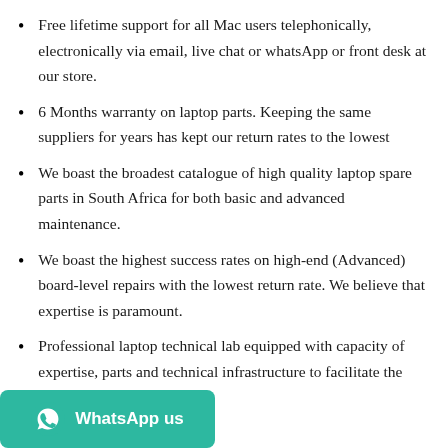Free lifetime support for all Mac users telephonically, electronically via email, live chat or whatsApp or front desk at our store.
6 Months warranty on laptop parts. Keeping the same suppliers for years has kept our return rates to the lowest
We boast the broadest catalogue of high quality laptop spare parts in South Africa for both basic and advanced maintenance.
We boast the highest success rates on high-end (Advanced) board-level repairs with the lowest return rate. We believe that expertise is paramount.
Professional laptop technical lab equipped with capacity of expertise, parts and technical infrastructure to facilitate the most advanced ice.